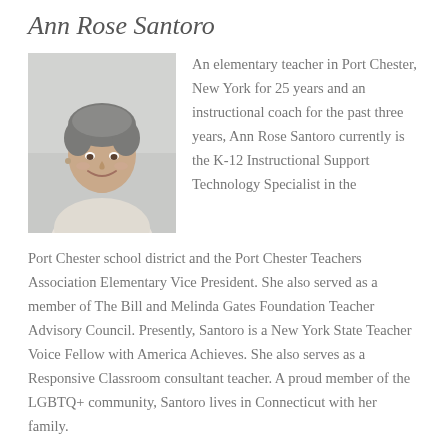Ann Rose Santoro
[Figure (photo): Headshot photo of Ann Rose Santoro, a woman with short grey hair, smiling, wearing a light-colored top, against a light grey background.]
An elementary teacher in Port Chester, New York for 25 years and an instructional coach for the past three years, Ann Rose Santoro currently is the K-12 Instructional Support Technology Specialist in the Port Chester school district and the Port Chester Teachers Association Elementary Vice President. She also served as a member of The Bill and Melinda Gates Foundation Teacher Advisory Council. Presently, Santoro is a New York State Teacher Voice Fellow with America Achieves. She also serves as a Responsive Classroom consultant teacher. A proud member of the LGBTQ+ community, Santoro lives in Connecticut with her family.